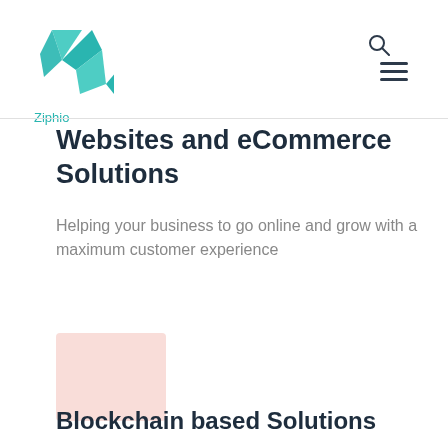[Figure (logo): Ziphio company logo — a teal/green geometric origami-style bird/letter Z shape above the text 'Ziphio']
Websites and eCommerce Solutions
Helping your business to go online and grow with a maximum customer experience
[Figure (illustration): Pink/rose colored rectangular placeholder box]
Blockchain based Solutions